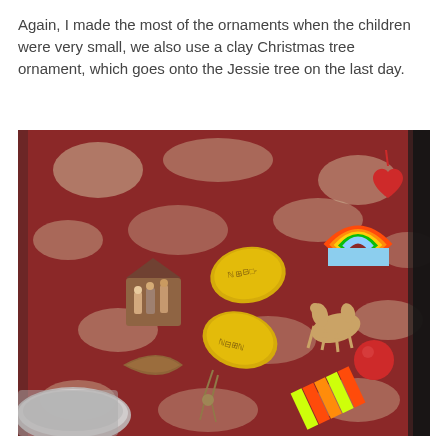Again, I made the most of the ornaments when the children were very small, we also use a clay Christmas tree ornament, which goes onto the Jessie tree on the last day.
[Figure (photo): A photo of various handmade Christmas ornaments laid out on a patterned red and cream carpet/rug. Items include: a small nativity scene figurine, felt ornaments in yellow shapes with writing, a rainbow-shaped felt ornament, a camel figurine, a red ball, a red heart, a colorful striped ornament, a wooden crescent shape, and a tied bundle of ornaments with twine.]